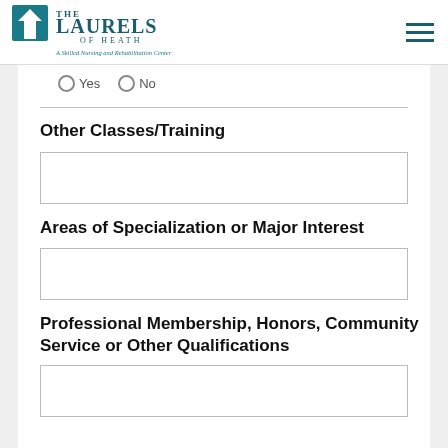[Figure (logo): The Laurels of Heath - A Skilled Nursing and Rehabilitation Center logo]
Yes   No
Other Classes/Training
Areas of Specialization or Major Interest
Professional Membership, Honors, Community Service or Other Qualifications